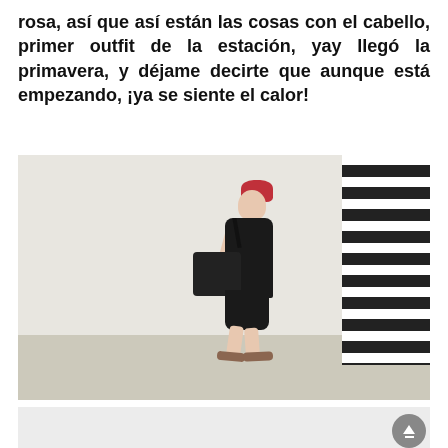rosa, así que así están las cosas con el cabello, primer outfit de la estación, yay llegó la primavera, y déjame decirte que aunque está empezando, ¡ya se siente el calor!
[Figure (photo): A woman with red hair in a bun, wearing a black sleeveless top and black shorts, carrying a large black shoulder bag, walking in sandals against a white wall with horizontal black and white louvered slats on the right side.]
[Figure (photo): Partial second photo visible at bottom of page, light gray background, with a circular back-to-top button (gray circle with white upward arrow) in the lower right corner.]